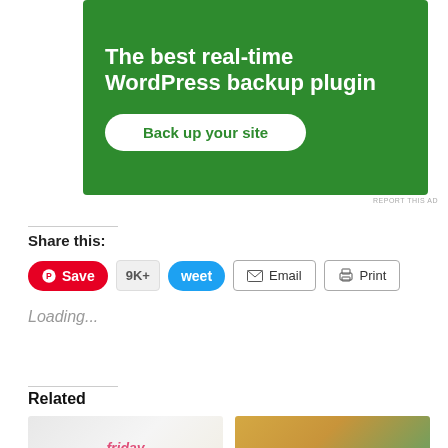[Figure (screenshot): Green advertisement banner for WordPress backup plugin with white text and a 'Back up your site' button]
REPORT THIS AD
Share this:
[Figure (screenshot): Social sharing buttons: Pinterest Save (red), 9K+ count, Tweet (blue), Email, Print]
Loading...
Related
[Figure (photo): Friday favorites blog post thumbnail with pink italic text]
[Figure (photo): Food photo showing a yellow curry or egg dish with green garnish]